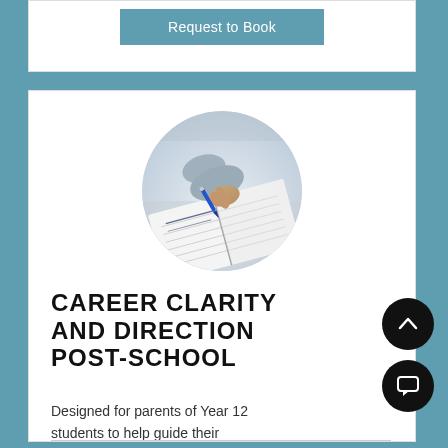Request to Book
[Figure (photo): Circular cropped photo of a person writing in a notebook with a pen, close-up shot with blurred background]
CAREER CLARITY AND DIRECTION POST-SCHOOL
Designed for parents of Year 12 students to help guide their future.